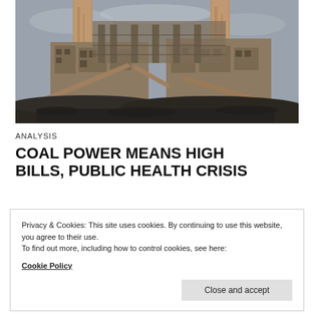[Figure (photo): Industrial coal power plant with tall rusted chimneys, large buildings and conveyor belts, under an overcast sky]
ANALYSIS
COAL POWER MEANS HIGH BILLS, PUBLIC HEALTH CRISIS
Privacy & Cookies: This site uses cookies. By continuing to use this website, you agree to their use.
To find out more, including how to control cookies, see here:
Cookie Policy
Close and accept
the largest [...]